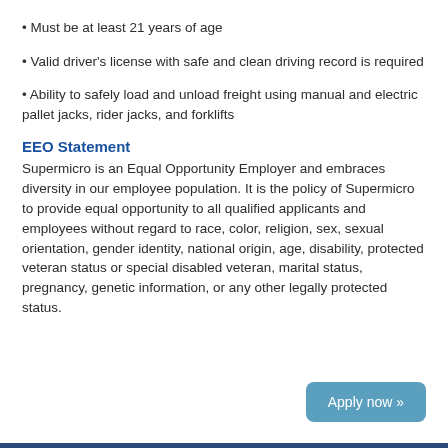• Must be at least 21 years of age
• Valid driver's license with safe and clean driving record is required
• Ability to safely load and unload freight using manual and electric pallet jacks, rider jacks, and forklifts
EEO Statement
Supermicro is an Equal Opportunity Employer and embraces diversity in our employee population. It is the policy of Supermicro to provide equal opportunity to all qualified applicants and employees without regard to race, color, religion, sex, sexual orientation, gender identity, national origin, age, disability, protected veteran status or special disabled veteran, marital status, pregnancy, genetic information, or any other legally protected status.
Apply now »